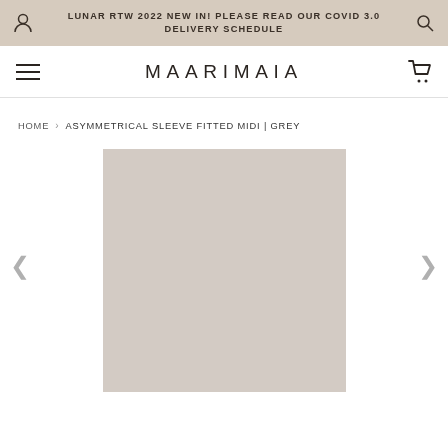LUNAR RTW 2022 NEW IN! PLEASE READ OUR COVID 3.0 DELIVERY SCHEDULE
MAARIMAIA
HOME > ASYMMETRICAL SLEEVE FITTED MIDI | GREY
[Figure (photo): Product image placeholder — greige/beige-grey rectangle representing a product photo loading area for Asymmetrical Sleeve Fitted Midi in Grey]